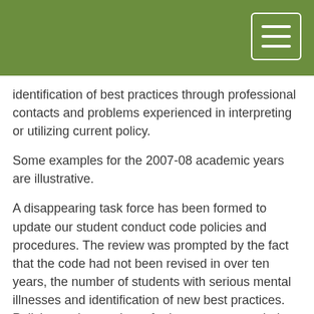identification of best practices through professional contacts and problems experienced in interpreting or utilizing current policy.
Some examples for the 2007-08 academic years are illustrative.
A disappearing task force has been formed to update our student conduct code policies and procedures. The review was prompted by the fact that the code had not been revised in over ten years, the number of students with serious mental illnesses and identification of new best practices. Policies and procedures for large events are being reviewed because it became apparent during a recent event that our security for events needed to be enhanced. Standard operating procedures in Police Services are being examined by the Director of Police Services to better address emergency and crowd control issues. Study Abroad procedures were updated because of a need for greater clarity and reduced liability. The role and functions of the ADA Compliance Committee were